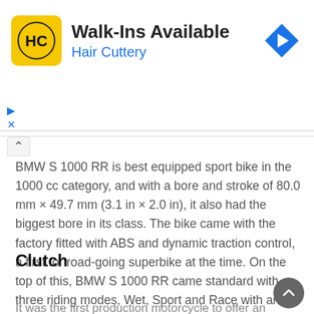[Figure (other): Hair Cuttery advertisement banner with HC logo, 'Walk-Ins Available' heading, 'Hair Cuttery' subheading in blue, and a navigation arrow icon]
BMW S 1000 RR is best equipped sport bike in the 1000 cc category, and with a bore and stroke of 80.0 mm × 49.7 mm (3.1 in × 2.0 in), it also had the biggest bore in its class. The bike came with the factory fitted with ABS and dynamic traction control, a first for road-going superbike at the time. On the top of this, BMW S 1000 RR came standard with three riding modes, Wet, Sport and Race with an additional riding mode, Slick available only after connecting a dongle, that we can received with the bike, to a special jack under the seat.
Clutch
It was the first production motorcycle to offer an